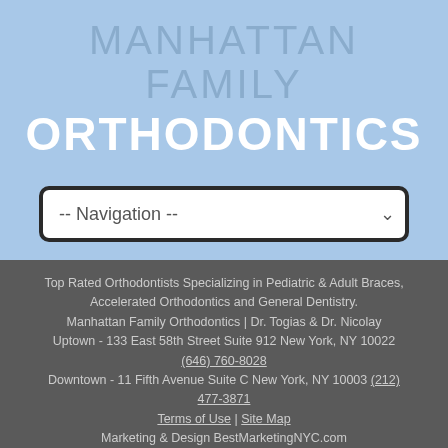MANHATTAN FAMILY ORTHODONTICS
[Figure (screenshot): Navigation dropdown UI element with '-- Navigation --' placeholder text]
Top Rated Orthodontists Specializing in Pediatric & Adult Braces, Accelerated Orthodontics and General Dentistry. Manhattan Family Orthodontics | Dr. Togias & Dr. Nicolay Uptown - 133 East 58th Street Suite 912 New York, NY 10022 (646) 760-8028 Downtown - 11 Fifth Avenue Suite C New York, NY 10003 (212) 477-3871
Terms of Use | Site Map
Marketing & Design BestMarketingNYC.com